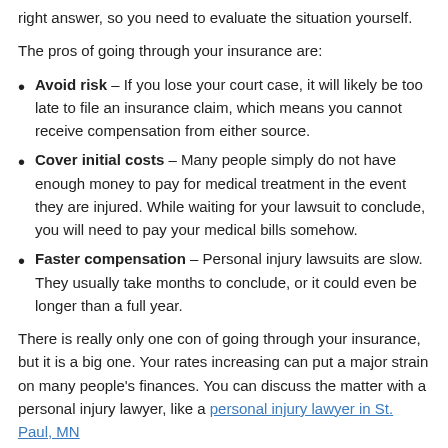right answer, so you need to evaluate the situation yourself.
The pros of going through your insurance are:
Avoid risk – If you lose your court case, it will likely be too late to file an insurance claim, which means you cannot receive compensation from either source.
Cover initial costs – Many people simply do not have enough money to pay for medical treatment in the event they are injured. While waiting for your lawsuit to conclude, you will need to pay your medical bills somehow.
Faster compensation – Personal injury lawsuits are slow. They usually take months to conclude, or it could even be longer than a full year.
There is really only one con of going through your insurance, but it is a big one. Your rates increasing can put a major strain on many people's finances. You can discuss the matter with a personal injury lawyer, like a personal injury lawyer in St. Paul, MN